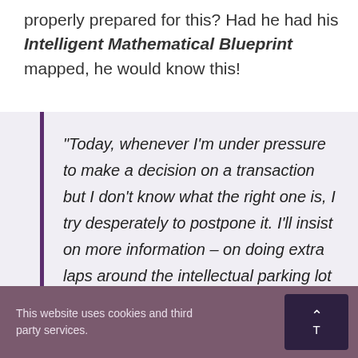properly prepared for this? Had he had his Intelligent Mathematical Blueprint mapped, he would know this!
“Today, whenever I’m under pressure to make a decision on a transaction but I don’t know what the right one is, I try desperately to postpone it. I’ll insist on more information – on doing extra laps around the intellectual parking lot – before
This website uses cookies and third party services.